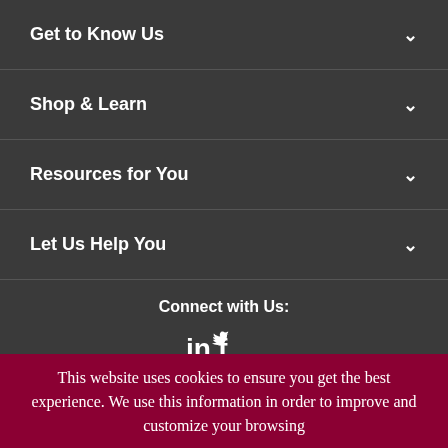Get to Know Us
Shop & Learn
Resources for You
Let Us Help You
Connect with Us:
[Figure (infographic): Social media icons: LinkedIn (in), Facebook (f), Twitter (bird icon)]
[Figure (logo): NBI National Business Institute logo with tagline: Keep your edge with NBI resources]
This website uses cookies to ensure you get the best experience. We use this information in order to improve and customize your browsing